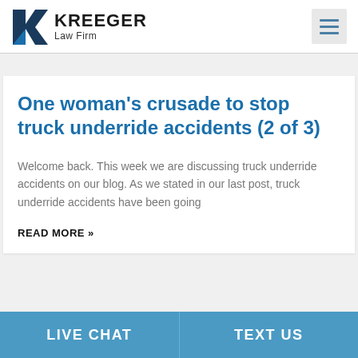KREEGER Law Firm
One woman’s crusade to stop truck underride accidents (2 of 3)
Welcome back. This week we are discussing truck underride accidents on our blog. As we stated in our last post, truck underride accidents have been going
READ MORE »
LIVE CHAT  |  TEXT US